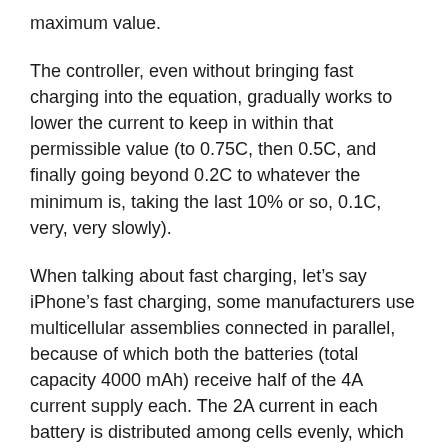maximum value.
The controller, even without bringing fast charging into the equation, gradually works to lower the current to keep in within that permissible value (to 0.75C, then 0.5C, and finally going beyond 0.2C to whatever the minimum is, taking the last 10% or so, 0.1C, very, very slowly).
When talking about fast charging, let’s say iPhone’s fast charging, some manufacturers use multicellular assemblies connected in parallel, because of which both the batteries (total capacity 4000 mAh) receive half of the 4A current supply each. The 2A current in each battery is distributed among cells evenly, which means that the loss of resistance is as low as the current, meaning you get charging that is much more efficient – or, fast charging.